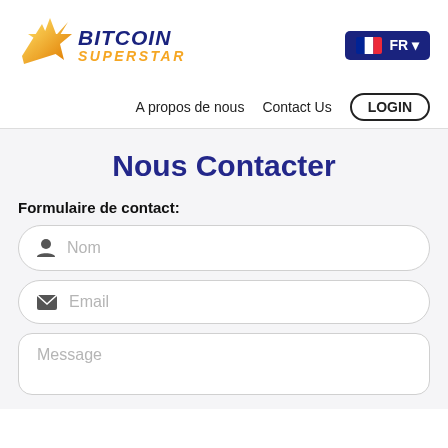[Figure (logo): Bitcoin Superstar logo with golden shooting star and blue/gold text]
FR
A propos de nous
Contact Us
LOGIN
Nous Contacter
Formulaire de contact:
Nom
Email
Message